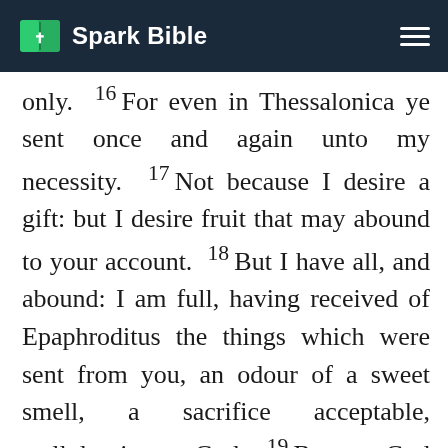Spark Bible
only. 16 For even in Thessalonica ye sent once and again unto my necessity. 17 Not because I desire a gift: but I desire fruit that may abound to your account. 18 But I have all, and abound: I am full, having received of Epaphroditus the things which were sent from you, an odour of a sweet smell, a sacrifice acceptable, wellpleasing to God. 19 But my God shall supply all your need according to his riches in glory